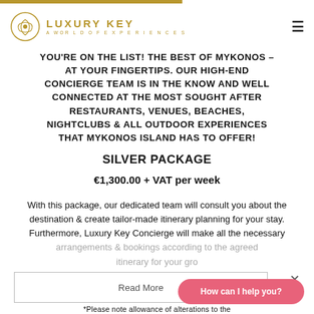LUXURY KEY — A WORLD OF EXPERIENCES
YOU'RE ON THE LIST! THE BEST OF MYKONOS – AT YOUR FINGERTIPS. OUR HIGH-END CONCIERGE TEAM IS IN THE KNOW AND WELL CONNECTED AT THE MOST SOUGHT AFTER RESTAURANTS, VENUES, BEACHES, NIGHTCLUBS & ALL OUTDOOR EXPERIENCES THAT MYKONOS ISLAND HAS TO OFFER!
SILVER PACKAGE
€1,300.00 + VAT per week
With this package, our dedicated team will consult you about the destination & create tailor-made itinerary planning for your stay. Furthermore, Luxury Key Concierge will make all the necessary arrangements & bookings according to the agreed itinerary for your group, between the hours of 9 am to
Read More
*Please note allowance of alterations to the